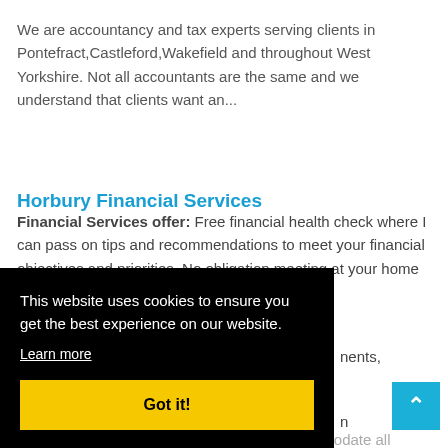We are accountancy and tax experts serving clients in Pontefract,Castleford,Wakefield and throughout West Yorkshire. Not all accountants are the same and we understand that clients want an...
Horbury Financial Services
Financial Services offer: Free financial health check where I can pass on tips and recommendations to meet your financial objectives and priorities. No obligation meeting at your home or
[Figure (screenshot): Cookie consent overlay banner with black background. Contains text: 'This website uses cookies to ensure you get the best experience on our website.' with a 'Learn more' underlined link, and a yellow 'Got it!' button.]
Bespoke fitted kitchens & bedrooms to accommodate all